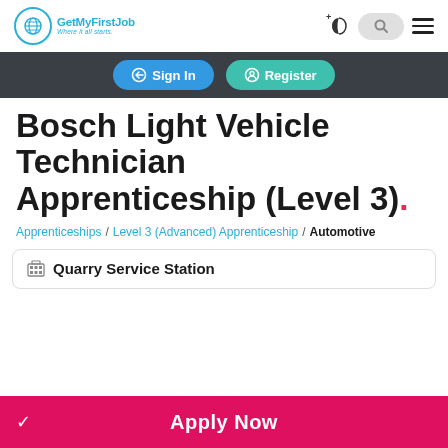[Figure (logo): GetMyFirstJob logo with globe icon and tagline 'Where it all starts.']
Sign In
Register
Bosch Light Vehicle Technician Apprenticeship (Level 3).
Apprenticeships / Level 3 (Advanced) Apprenticeship / Automotive
Quarry Service Station
Apply Now